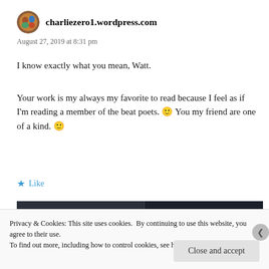charliezero1.wordpress.com
August 27, 2019 at 8:31 pm
I know exactly what you mean, Watt.
Your work is my always my favorite to read because I feel as if I'm reading a member of the beat poets. 🙂 You my friend are one of a kind. 🙂
Like
[Figure (screenshot): Screenshot of a webpage with dark background, partial view]
Privacy & Cookies: This site uses cookies. By continuing to use this website, you agree to their use. To find out more, including how to control cookies, see here: Cookie Policy
Close and accept